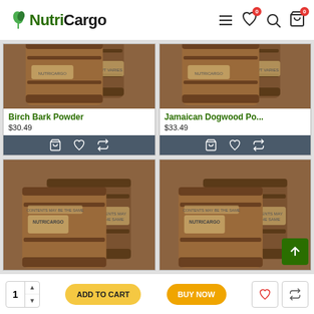NutriCargo
[Figure (photo): Birch Bark Powder product image - wooden barrel-style packaging]
Birch Bark Powder
$30.49
[Figure (photo): Jamaican Dogwood Powder product image - wooden barrel-style packaging]
Jamaican Dogwood Po...
$33.49
[Figure (photo): Third product - wooden barrel-style NutriCargo packaging]
[Figure (photo): Fourth product - wooden barrel-style NutriCargo packaging]
1 ADD TO CART BUY NOW